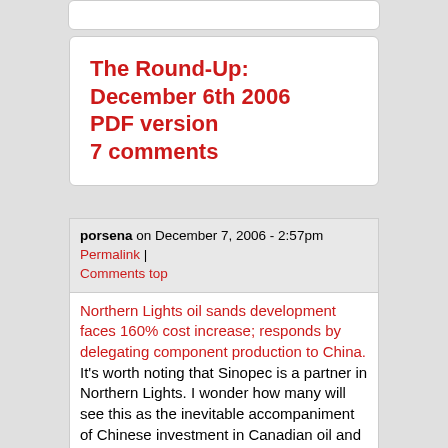The Round-Up: December 6th 2006 PDF version 7 comments
porsena on December 7, 2006 - 2:57pm Permalink | Comments top
Northern Lights oil sands development faces 160% cost increase; responds by delegating component production to China. It's worth noting that Sinopec is a partner in Northern Lights. I wonder how many will see this as the inevitable accompaniment of Chinese investment in Canadian oil and gas.